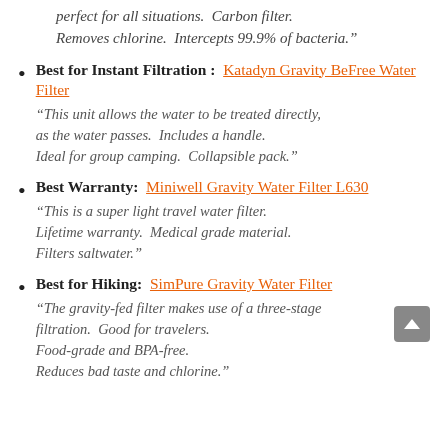perfect for all situations.  Carbon filter.  Removes chlorine.  Intercepts 99.9% of bacteria."
Best for Instant Filtration :  Katadyn Gravity BeFree Water Filter
"This unit allows the water to be treated directly, as the water passes.  Includes a handle.  Ideal for group camping.  Collapsible pack."
Best Warranty:  Miniwell Gravity Water Filter L630
"This is a super light travel water filter.  Lifetime warranty.  Medical grade material.  Filters saltwater."
Best for Hiking:  SimPure Gravity Water Filter
"The gravity-fed filter makes use of a three-stage filtration.  Good for travelers.  Food-grade and BPA-free.  Reduces bad taste and chlorine."